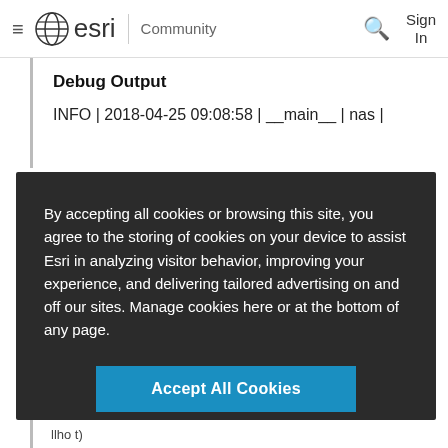esri Community — Sign In
Debug Output
INFO | 2018-04-25 09:08:58 | __main__ | nas |
By accepting all cookies or browsing this site, you agree to the storing of cookies on your device to assist Esri in analyzing visitor behavior, improving your experience, and delivering tailored advertising on and off our sites. Manage cookies here or at the bottom of any page.
Accept All Cookies
Cookies Settings